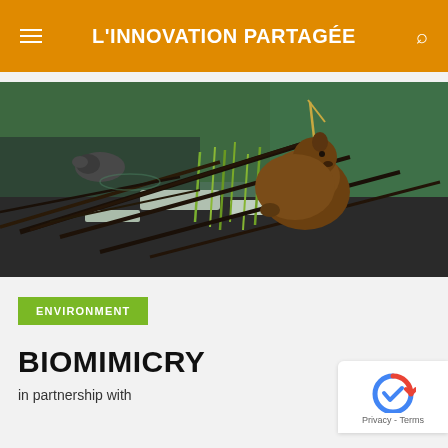L'INNOVATION PARTAGÉE
[Figure (photo): A beaver on its dam made of sticks and branches near water with green reeds in the background]
ENVIRONMENT
BIOMIMICRY
in partnership with